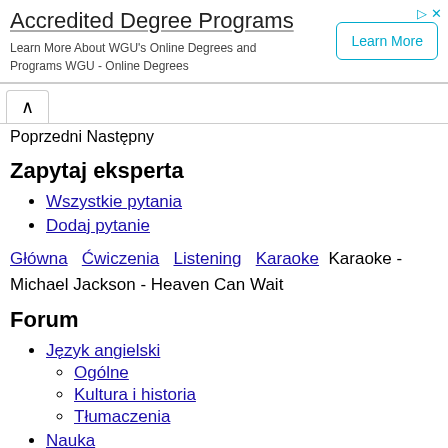[Figure (other): Advertisement banner for Accredited Degree Programs (WGU Online Degrees) with a Learn More button]
Poprzedni Następny
Zapytaj eksperta
Wszystkie pytania
Dodaj pytanie
Główna  Ćwiczenia  Listening  Karaoke  Karaoke - Michael Jackson - Heaven Can Wait
Forum
Język angielski
Ogólne
Kultura i historia
Tłumaczenia
Nauka
Gramatyka angielska